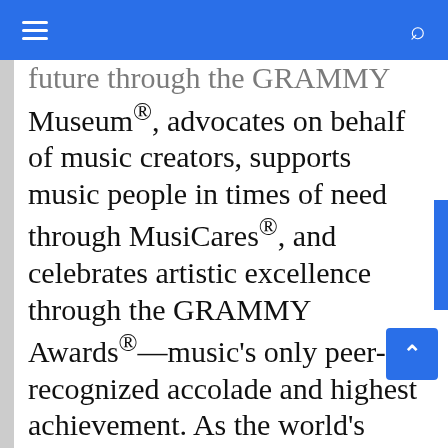Navigation bar with hamburger menu and search icon
future through the GRAMMY Museum®, advocates on behalf of music creators, supports music people in times of need through MusiCares®, and celebrates artistic excellence through the GRAMMY Awards®—music's only peer-recognized accolade and highest achievement. As the world's leading society of music professionals, we work year-round to foster a more inspiring world for creators.